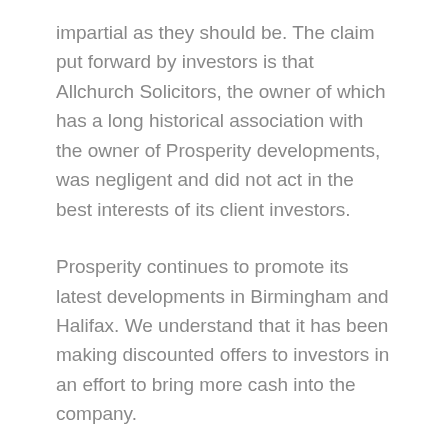impartial as they should be. The claim put forward by investors is that Allchurch Solicitors, the owner of which has a long historical association with the owner of Prosperity developments, was negligent and did not act in the best interests of its client investors.
Prosperity continues to promote its latest developments in Birmingham and Halifax. We understand that it has been making discounted offers to investors in an effort to bring more cash into the company.
Prosperity has not responded to complaints made by property investors which include